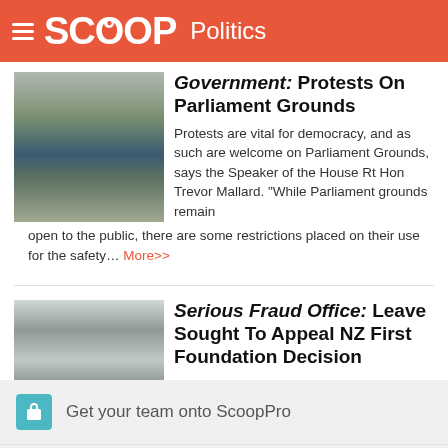SCOOP Politics
Government: Protests On Parliament Grounds
Protests are vital for democracy, and as such are welcome on Parliament Grounds, says the Speaker of the House Rt Hon Trevor Mallard. “While Parliament grounds remain open to the public, there are some restrictions placed on their use for the safety... More>>
Serious Fraud Office: Leave Sought To Appeal NZ First Foundation Decision
Leave has been sought to appeal the decision in the Serious Fraud Office’s NZ First Foundation prosecution... More>>
Get your team onto ScoopPro
Submit News / Press Releases